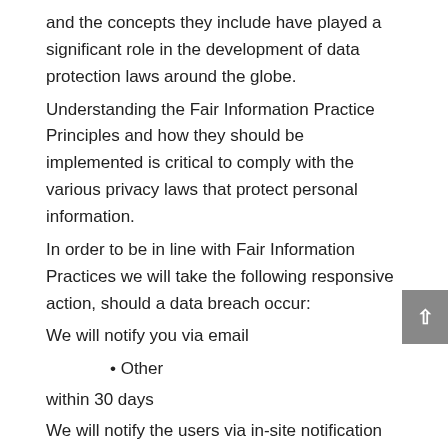and the concepts they include have played a significant role in the development of data protection laws around the globe. Understanding the Fair Information Practice Principles and how they should be implemented is critical to comply with the various privacy laws that protect personal information.
In order to be in line with Fair Information Practices we will take the following responsive action, should a data breach occur:
We will notify you via email
• Other
within 30 days
We will notify the users via in-site notification